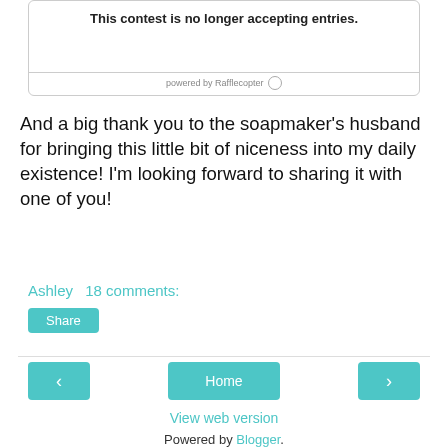[Figure (screenshot): Rafflecopter contest widget showing 'This contest is no longer accepting entries.' with 'powered by Rafflecopter' footer]
And a big thank you to the soapmaker's husband for bringing this little bit of niceness into my daily existence! I'm looking forward to sharing it with one of you!
Ashley  18 comments:
Share
Home
View web version
Powered by Blogger.